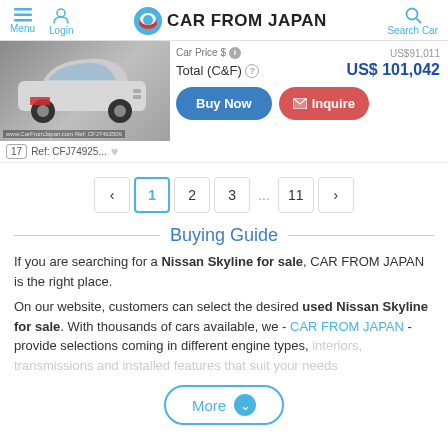Menu | Login | CAR FROM JAPAN | Search Car
[Figure (photo): Silver vintage Nissan Skyline car thumbnail with www.CarFromJapan.com Ref: CFJ7492509 watermark. Photo count badge showing 17. Ref: CFJ74925...]
Car Price $ [info] US$91,011
Total (C&F) [?] US$ 101,042
Buy Now | Inquire
< 1 2 3 ... 11 >
Buying Guide
If you are searching for a Nissan Skyline for sale, CAR FROM JAPAN is the right place.
On our website, customers can select the desired used Nissan Skyline for sale. With thousands of cars available, we - CAR FROM JAPAN - provide selections coming in different engine types, interiors, transmissions and installed features that suit your needs
More